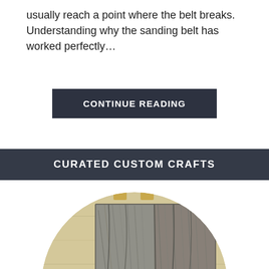usually reach a point where the belt breaks. Understanding why the sanding belt has worked perfectly...
CONTINUE READING
CURATED CUSTOM CRAFTS
[Figure (photo): Circular cropped photo showing gray/brown wood panels arranged in a grid pattern (four pieces of wood), placed on a light-colored wooden surface with gold hardware visible at top and blue element at bottom]